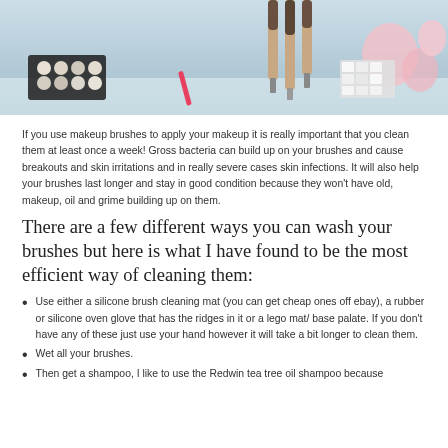[Figure (photo): Photo of makeup brushes standing upright with makeup palettes and beauty products on a white surface]
If you use makeup brushes to apply your makeup it is really important that you clean them at least once a week! Gross bacteria can build up on your brushes and cause breakouts and skin irritations and in really severe cases skin infections. It will also help your brushes last longer and stay in good condition because they won't have old, makeup, oil and grime building up on them.
There are a few different ways you can wash your brushes but here is what I have found to be the most efficient way of cleaning them:
Use either a silicone brush cleaning mat (you can get cheap ones off ebay), a rubber or silicone oven glove that has the ridges in it or a lego mat/ base palate. If you don't have any of these just use your hand however it will take a bit longer to clean them.
Wet all your brushes.
Then get a shampoo, I like to use the Redwin tea tree oil shampoo because